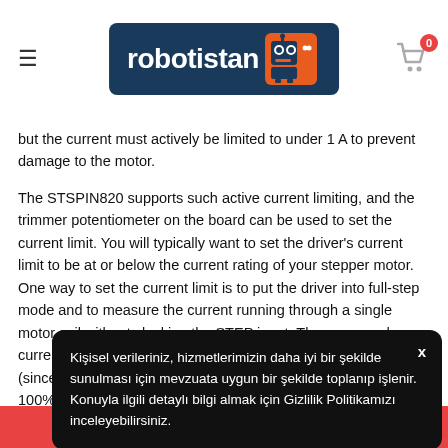robotistan [logo with robot icon] [cart: 0]
but the current must actively be limited to under 1 A to prevent damage to the motor.
The STSPIN820 supports such active current limiting, and the trimmer potentiometer on the board can be used to set the current limit. You will typically want to set the driver's current limit to be at or below the current rating of your stepper motor. One way to set the current limit is to put the driver into full-step mode and to measure the current running through a single motor coil without clocking the STEP input. The measured current will be equal to the current limit (since... 100% of the curre...
Another way to se...
Kişisel verileriniz, hizmetlerimizin daha iyi bir şekilde sunulması için mevzuata uygun bir şekilde toplanıp işlenir. Konuyla ilgili detaylı bilgi almak için Gizlilik Politikamızı inceleyebilirsiniz.